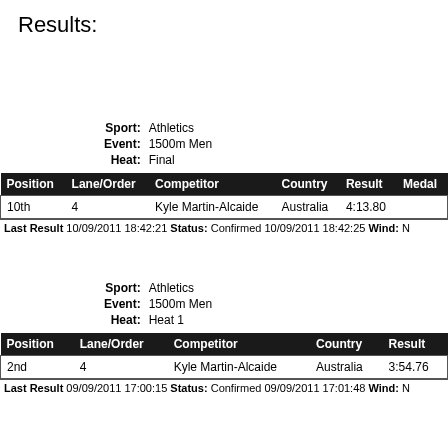Results:
Sport: Athletics
Event: 1500m Men
Heat: Final
| Position | Lane/Order | Competitor | Country | Result | Medal |
| --- | --- | --- | --- | --- | --- |
| 10th | 4 | Kyle Martin-Alcaide | Australia | 4:13.80 |  |
Sport: Athletics
Event: 1500m Men
Heat: Heat 1
| Position | Lane/Order | Competitor | Country | Result |
| --- | --- | --- | --- | --- |
| 2nd | 4 | Kyle Martin-Alcaide | Australia | 3:54.76 |